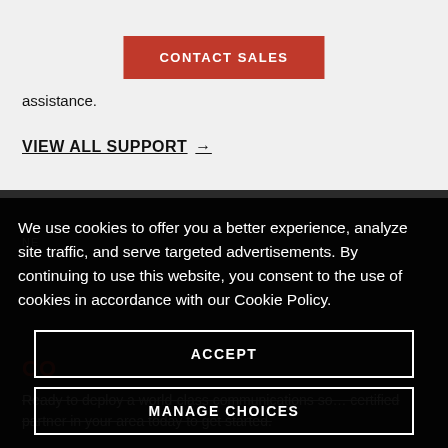assistance.
VIEW ALL SUPPORT →
We use cookies to offer you a better experience, analyze site traffic, and serve targeted advertisements. By continuing to use this website, you consent to the use of cookies in accordance with our Cookie Policy.
ACCEPT
MANAGE CHOICES
CO
Ready to deploy a world-class communications solution? Contact a certified partner in your area today to get started.